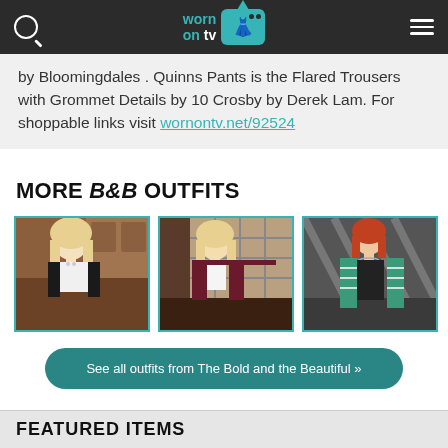worn on tv — navigation header with search and hamburger menu
by Bloomingdales . Quinns Pants is the Flared Trousers with Grommet Details by 10 Crosby by Derek Lam. For shoppable links visit wornontv.net/92524
MORE B&B OUTFITS
[Figure (photo): Blonde woman in dark blazer and white top in a wood-paneled room]
[Figure (photo): Blonde woman in dark maroon blazer standing in front of ornate window]
[Figure (photo): Red-haired woman in green striped blazer over black outfit]
See all outfits from The Bold and the Beautiful »
FEATURED ITEMS